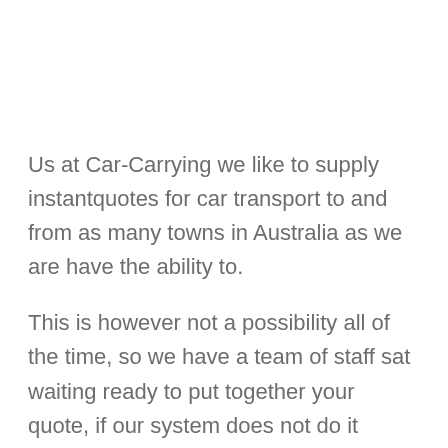Us at Car-Carrying we like to supply instantquotes for car transport to and from as many towns in Australia as we are have the ability to.
This is however not a possibility all of the time, so we have a team of staff sat waiting ready to put together your quote, if our system does not do it automatically.